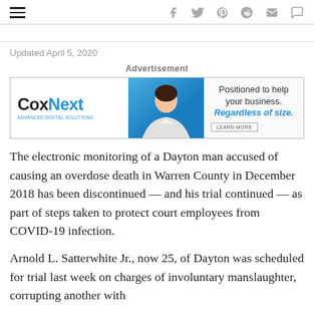Navigation and social icons bar
Updated April 5, 2020
[Figure (other): CoxNext advertisement banner: 'Positioned to help your business. Regardless of size. LEARN MORE']
The electronic monitoring of a Dayton man accused of causing an overdose death in Warren County in December 2018 has been discontinued — and his trial continued — as part of steps taken to protect court employees from COVID-19 infection.
Arnold L. Satterwhite Jr., now 25, of Dayton was scheduled for trial last week on charges of involuntary manslaughter, corrupting another with drugs...